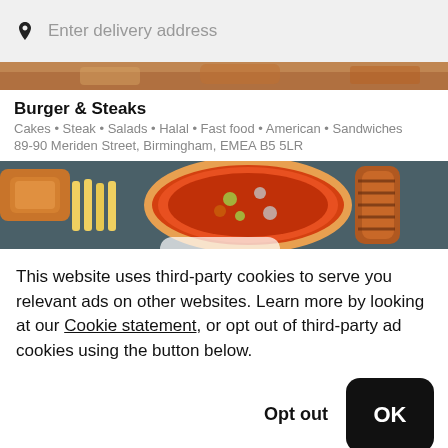Enter delivery address
[Figure (photo): Partial food image at top, cropped]
Burger & Steaks
Cakes • Steak • Salads • Halal • Fast food • American • Sandwiches
89-90 Meriden Street, Birmingham, EMEA B5 5LR
[Figure (photo): Food image showing fried chicken, fries, pizza, and grilled chicken]
This website uses third-party cookies to serve you relevant ads on other websites. Learn more by looking at our Cookie statement, or opt out of third-party ad cookies using the button below.
Opt out
OK